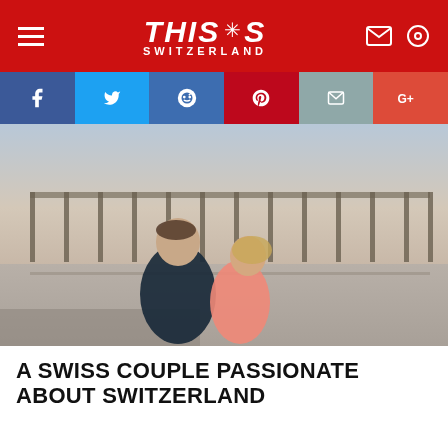THIS IS SWITZERLAND
[Figure (other): Social sharing buttons: Facebook, Twitter, Reddit, Pinterest, Email, Google+]
[Figure (photo): A young couple standing back-to-back in front of a long wooden bridge over a calm lake at dusk. The man is wearing a dark navy t-shirt with arms crossed; the woman is wearing a coral/pink top. Background shows the U Bein Bridge in Mandalay, Myanmar.]
A SWISS COUPLE PASSIONATE ABOUT SWITZERLAND